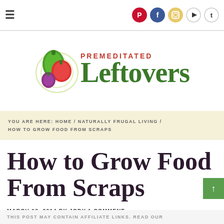Premeditated Leftovers — navigation header with social icons
[Figure (logo): Premeditated Leftovers logo with vegetable illustration (green pepper, tomato, garlic) and green serif text]
YOU ARE HERE: HOME / NATURALLY FRUGAL LIVING / HOW TO GROW FOOD FROM SCRAPS
How to Grow Food From Scraps
MARCH 18, 2014 BY JODY 1 COMMENT
THIS POST MAY CONTAIN AFFILIATE LINKS. READ OUR